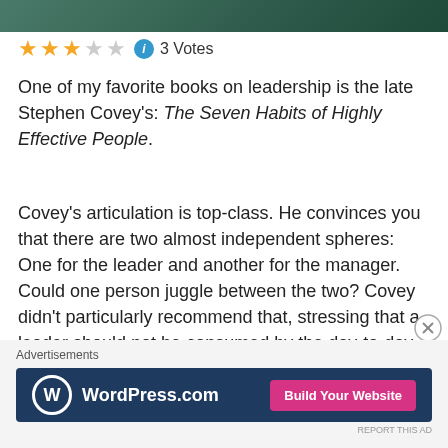[Figure (photo): Top portion of a decorative header image with dark teal/green tones]
★★★☆☆ ℹ 3 Votes
One of my favorite books on leadership is the late Stephen Covey's: The Seven Habits of Highly Effective People.
Covey's articulation is top-class. He convinces you that there are two almost independent spheres: One for the leader and another for the manager. Could one person juggle between the two? Covey didn't particularly recommend that, stressing that a leader should not be consumed by the day-to-day details of the business. Rather, he or she should be totally focused on vision, mission and long-term objectives.
Advertisements
[Figure (screenshot): WordPress.com advertisement banner with 'Build Your Website' button on dark blue background]